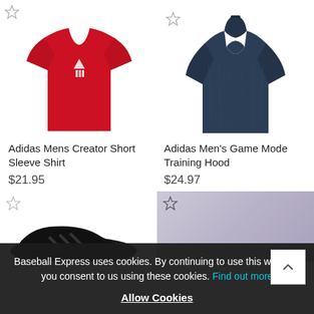[Figure (photo): Adidas red men's creator short sleeve t-shirt on white background]
[Figure (photo): Adidas men's navy blue game mode training hoodie on white background]
Adidas Mens Creator Short Sleeve Shirt
$21.95
Adidas Men's Game Mode Training Hood
$24.97
[Figure (photo): Bottom left partial product image - black athletic shoes]
[Figure (photo): Bottom right partial product image - purple/lavender athletic pants with star icon]
Baseball Express uses cookies. By continuing to use this website, you consent to us using these cookies. Find out more
Allow Cookies